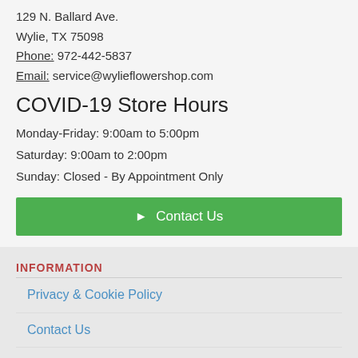129 N. Ballard Ave.
Wylie, TX 75098
Phone: 972-442-5837
Email: service@wylieflowershop.com
COVID-19 Store Hours
Monday-Friday: 9:00am to 5:00pm
Saturday: 9:00am to 2:00pm
Sunday: Closed - By Appointment Only
Contact Us
INFORMATION
Privacy & Cookie Policy
Contact Us
Rowlett Texas Flower Delivery
Wylie Texas Flower Delivery